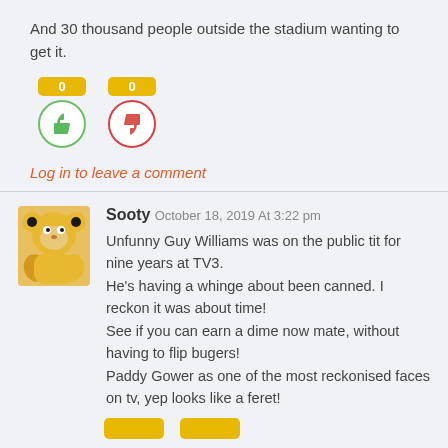And 30 thousand people outside the stadium wanting to get it.
[Figure (infographic): Vote buttons: thumbs up (green circle, count 0) and thumbs down (red circle, count 0) with yellow count badges]
Log in to leave a comment
[Figure (photo): Avatar of Sooty puppet (yellow bear puppet)]
Sooty October 18, 2019 At 3:22 pm
Unfunny Guy Williams was on the public tit for nine years at TV3.
He's having a whinge about been canned. I reckon it was about time!
See if you can earn a dime now mate, without having to flip bugers!
Paddy Gower as one of the most reckonised faces on tv, yep looks like a feret!
[Figure (infographic): Partial vote buttons (yellow badges) at bottom, cut off]